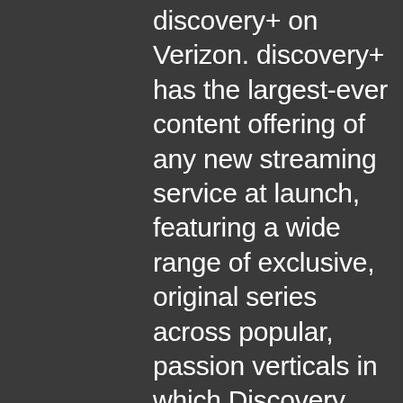discovery+ on Verizon. discovery+ has the largest-ever content offering of any new streaming service at launch, featuring a wide range of exclusive, original series across popular, passion verticals in which Discovery brands have a strong leadership position, including lifestyle and relationships; home and food; true crime; paranormal; adventure and natural history; as well as science, tech and the environment, and a slate of high-quality documentaries. For more, visit discoveryplus.com or find it on a variety of platforms and devices, including ones from Amazon, Apple